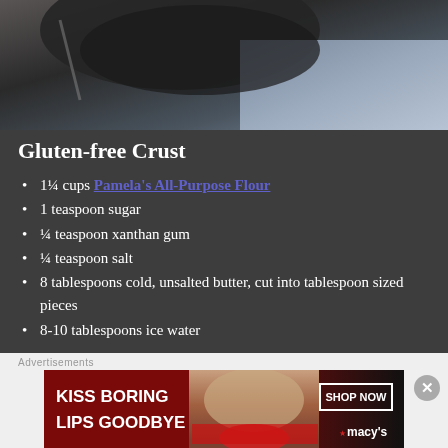[Figure (photo): Dark overhead photo of a pan or skillet with a blue cloth/denim fabric in the background, on a wooden surface]
Gluten-free Crust
1¼ cups Pamela's All-Purpose Flour
1 teaspoon sugar
¼ teaspoon xanthan gum
¼ teaspoon salt
8 tablespoons cold, unsalted butter, cut into tablespoon sized pieces
8-10 tablespoons ice water
[Figure (advertisement): Macy's advertisement with text 'KISS BORING LIPS GOODBYE' and 'SHOP NOW' button, featuring a woman's face with red lipstick]